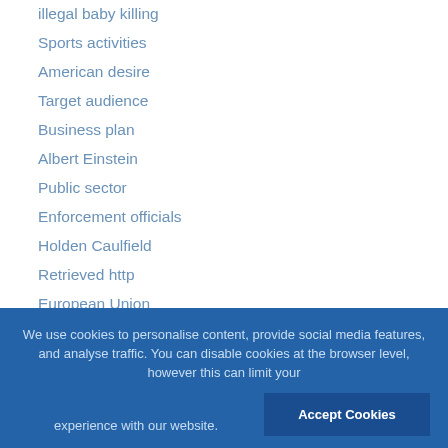illegal baby killing
Sports activities
American desire
Target audience
Business plan
Albert Einstein
Public sector
Enforcement officials
Holden Caulfield
Retrieved http
European Union
Dark night
Overall health
Customer satisfaction
We use cookies to personalise content, provide social media features, and analyse traffic. You can disable cookies at the browser level, however this can limit your experience with our website.
Accept Cookies